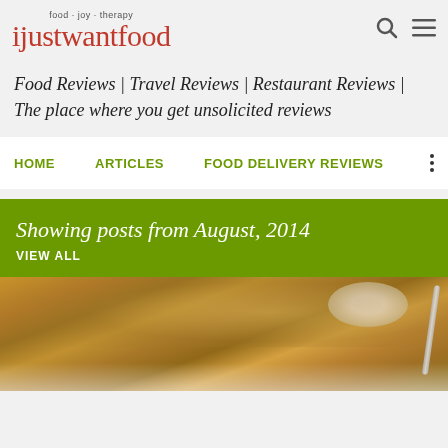food · joy · therapy
ijustwantfood
Food Reviews | Travel Reviews | Restaurant Reviews | The place where you get unsolicited reviews
HOME   ARTICLES   FOOD DELIVERY REVIEWS
Showing posts from August, 2014
VIEW ALL
[Figure (photo): Close-up photo of a breaded/crumbed food dish on a white plate, with a bowl and fork visible in the background]